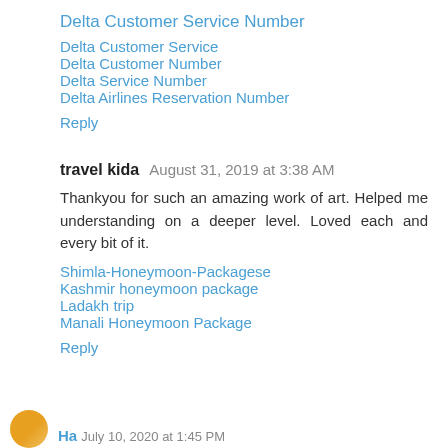Delta Customer Service Number
Delta Customer Service
Delta Customer Number
Delta Service Number
Delta Airlines Reservation Number
Reply
travel kida  August 31, 2019 at 3:38 AM
Thankyou for such an amazing work of art. Helped me understanding on a deeper level. Loved each and every bit of it.
Shimla-Honeymoon-Packagese
Kashmir honeymoon package
Ladakh trip
Manali Honeymoon Package
Reply
July 10, 2020 at 1:45 PM